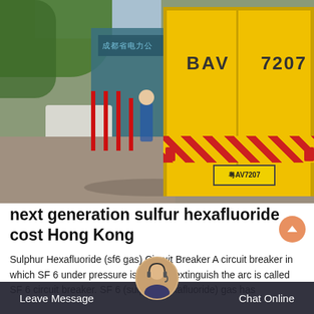[Figure (photo): Street scene showing a yellow utility truck (labeled BAV 7207) on a road with a white van and blue building/sign in background, trees visible at top left.]
next generation sulfur hexafluoride cost Hong Kong
Sulphur Hexafluoride (sf6 gas) Circuit Breaker A circuit breaker in which SF 6 under pressure is used to extinguish the arc is called SF 6 circuit breaker. SF 6 (sulphur hexafluoride) gas has